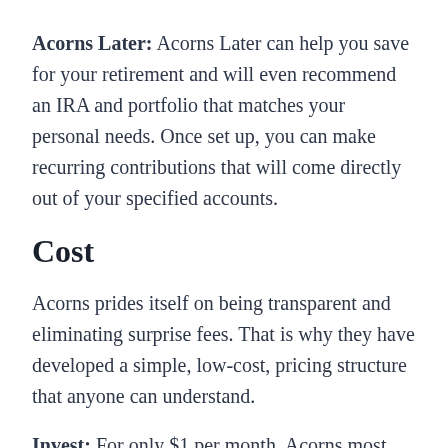Acorns Later: Acorns Later can help you save for your retirement and will even recommend an IRA and portfolio that matches your personal needs. Once set up, you can make recurring contributions that will come directly out of your specified accounts.
Cost
Acorns prides itself on being transparent and eliminating surprise fees. That is why they have developed a simple, low-cost, pricing structure that anyone can understand.
Invest: For only $1 per month, Acorns most affordable option has all you will need to get started. The app will round up your purchases and invest your spare change